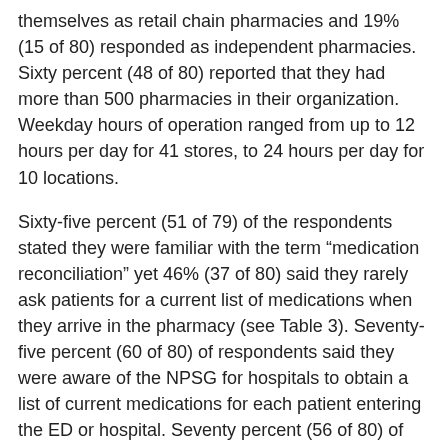themselves as retail chain pharmacies and 19% (15 of 80) responded as independent pharmacies. Sixty percent (48 of 80) reported that they had more than 500 pharmacies in their organization. Weekday hours of operation ranged from up to 12 hours per day for 41 stores, to 24 hours per day for 10 locations.
Sixty-five percent (51 of 79) of the respondents stated they were familiar with the term “medication reconciliation” yet 46% (37 of 80) said they rarely ask patients for a current list of medications when they arrive in the pharmacy (see Table 3). Seventy-five percent (60 of 80) of respondents said they were aware of the NPSG for hospitals to obtain a list of current medications for each patient entering the ED or hospital. Seventy percent (56 of 80) of the respondents said that less than 10% of patients have a current and complete list of their medications when they visit the pharmacy and 46% (36 of 79) of respondents said they routinely will provide a list to patients. Table 4 lists responses of the 77 participants who answered the question asking if medication reconciliation is performed for patients by community pharmacies.